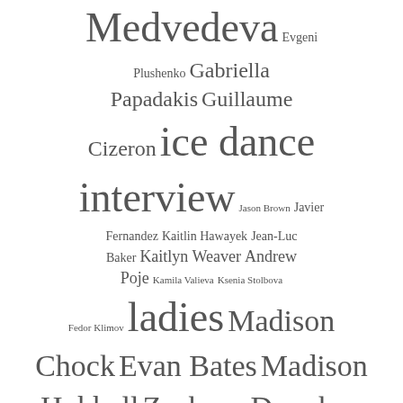Medvedeva Evgeni Plushenko Gabriella Papadakis Guillaume Cizeron ice dance interview Jason Brown Javier Fernandez Kaitlin Hawayek Jean-Luc Baker Kaitlyn Weaver Andrew Poje Kamila Valieva Ksenia Stolbova Fedor Klimov ladies Madison Chock Evan Bates Madison Hubbell Zachary Donohue Maia Shibutani Alex Shibutani Maria Sotskova Meagan Duhamel Eric Radford men Meryl Davis Charlie White mikhail kolyada Nathan Chen pairs photos Piper Gilles Paul Poirier Tatiana Tarasova Tatiana Volosozhar Maxim Trankov Team